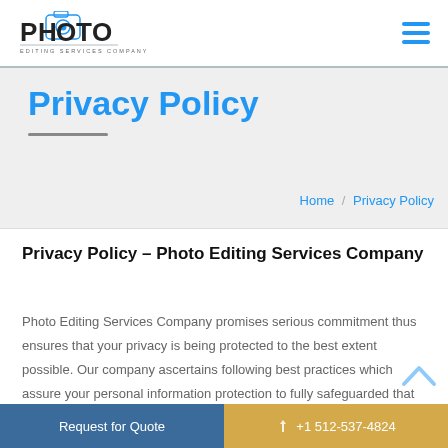[Figure (logo): Photo Editing Services Company logo with camera icon and text]
Privacy Policy
Home / Privacy Policy
Privacy Policy – Photo Editing Services Company
Photo Editing Services Company promises serious commitment thus ensures that your privacy is being protected to the best extent possible. Our company ascertains following best practices which assure your personal information protection to fully safeguarded that at all stages. Here are our detailed Privacy Statement as
Request for Quote    +1 512-537-4824